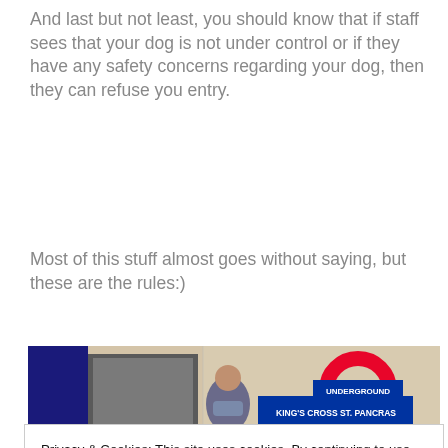And last but not least, you should know that if staff sees that your dog is not under control or if they have any safety concerns regarding your dog, then they can refuse you entry.
Most of this stuff almost goes without saying, but these are the rules:)
[Figure (photo): A man standing in front of a London Underground sign reading 'KING'S CROSS ST. PANCRAS' with the iconic red and blue roundel visible]
Privacy & Cookies: This site uses cookies. By continuing to use this website, you agree to their use.
To find out more, including how to control cookies, see here: Cookie Policy
Close and accept